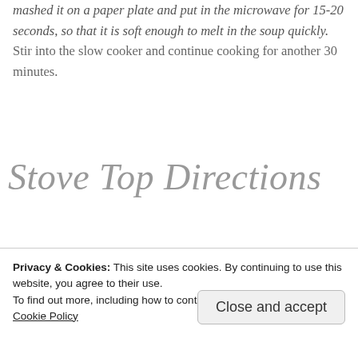mashed it on a paper plate and put in the microwave for 15-20 seconds, so that it is soft enough to melt in the soup quickly. Stir into the slow cooker and continue cooking for another 30 minutes.
Stove Top Directions
1. In a large soup pan, stir together chicken...
Privacy & Cookies: This site uses cookies. By continuing to use this website, you agree to their use.
To find out more, including how to control cookies, see here:
Cookie Policy